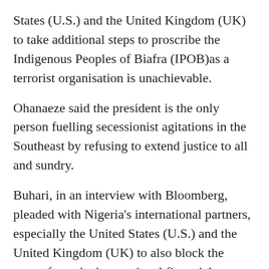States (U.S.) and the United Kingdom (UK) to take additional steps to proscribe the Indigenous Peoples of Biafra (IPOB)as a terrorist organisation is unachievable.
Ohanaeze said the president is the only person fuelling secessionist agitations in the Southeast by refusing to extend justice to all and sundry.
Buhari, in an interview with Bloomberg, pleaded with Nigeria's international partners, especially the United States (U.S.) and the United Kingdom (UK) to also block the group from the international financial network.
But in a statement in Enugu by spokesman of Ohanaeze, Alex Ogbonnia, the group said: “The request by Mr. President to the West is most unachievable because the West watch with keen interest and utter resignation the pathetic governance paradigm in the country.